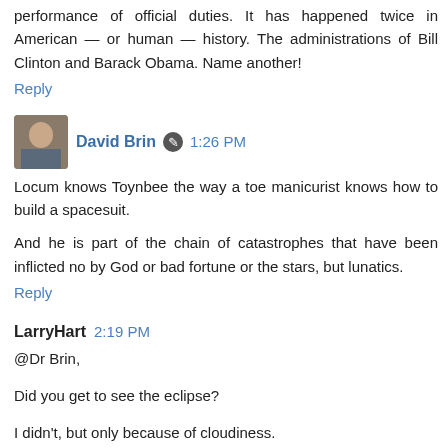performance of official duties. It has happened twice in American — or human — history. The administrations of Bill Clinton and Barack Obama. Name another!
Reply
David Brin 1:26 PM
Locum knows Toynbee the way a toe manicurist knows how to build a spacesuit.

And he is part of the chain of catastrophes that have been inflicted no by God or bad fortune or the stars, but lunatics.
Reply
LarryHart 2:19 PM
@Dr Brin,

Did you get to see the eclipse?

I didn't, but only because of cloudiness.